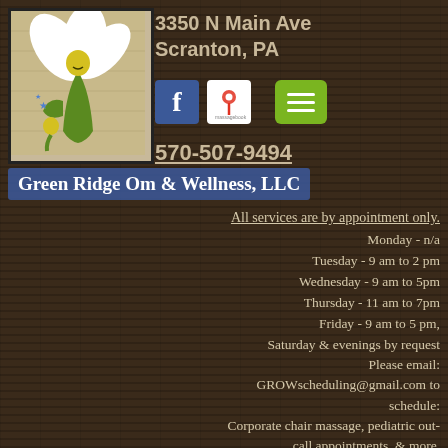[Figure (logo): Green Ridge Om & Wellness logo: illustrated figure resembling a flower/plant with white petals and green stem body, yellow head, on tan background]
3350 N Main Ave
Scranton, PA
[Figure (infographic): Facebook icon (blue square with white f), MassageBook icon (white square with red location pin), and green hamburger menu button]
570-507-9494
Green Ridge Om & Wellness, LLC
All services are by appointment only.
Monday - n/a
Tuesday - 9 am to 2 pm
Wednesday - 9 am to 5pm
Thursday - 11 am to 7pm
Friday - 9 am to 5 pm,
Saturday & evenings by request
Please email:
GROWscheduling@gmail.com to schedule:
Corporate chair massage, pediatric out-call appointments, & more.